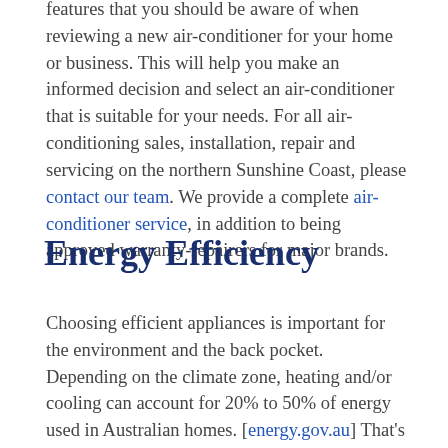features that you should be aware of when reviewing a new air-conditioner for your home or business. This will help you make an informed decision and select an air-conditioner that is suitable for your needs. For all air-conditioning sales, installation, repair and servicing on the northern Sunshine Coast, please contact our team. We provide a complete air-conditioner service, in addition to being approved warranty-repairers for major brands.
Energy Efficiency
Choosing efficient appliances is important for the environment and the back pocket. Depending on the climate zone, heating and/or cooling can account for 20% to 50% of energy used in Australian homes. [energy.gov.au] That's quite a lot when you think about tit. The best way to understand the energy-efficiency of an